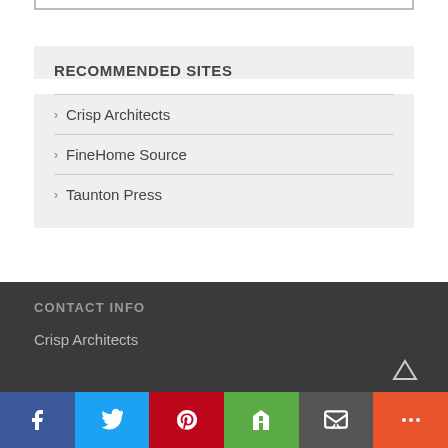RECOMMENDED SITES
Crisp Architects
FineHome Source
Taunton Press
CONTACT INFO
Crisp Architects
[Figure (infographic): Social sharing bar with icons for Facebook, Twitter, Pinterest, Houzz, Email, and a More button]